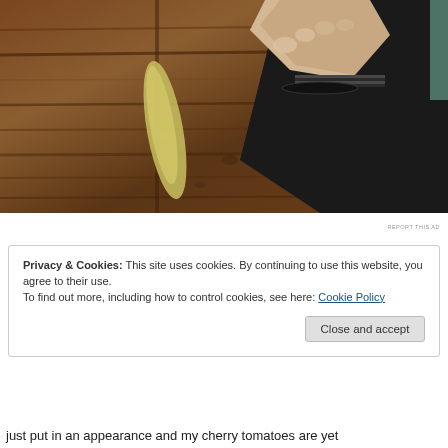[Figure (photo): A hand reaching over a wooden surface, wearing a dark sleeve with a striped cuff bracelet. A yellowish-green object (possibly a vegetable) lies on the wood-grain table.]
REPORT THIS AD
Privacy & Cookies: This site uses cookies. By continuing to use this website, you agree to their use.
To find out more, including how to control cookies, see here: Cookie Policy
Close and accept
just put in an appearance and my cherry tomatoes are yet